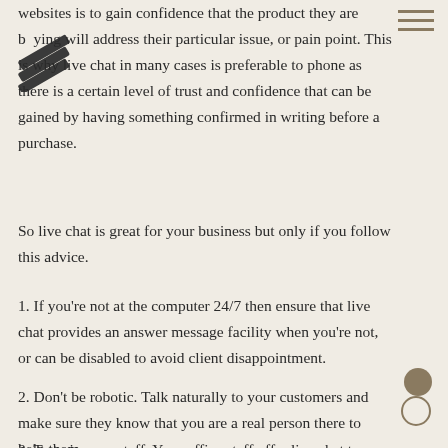[Figure (logo): Stylized overlapping diagonal stripes logo in dark color, top left corner]
websites is to gain confidence that the product they are buying will address their particular issue, or pain point. This is why live chat in many cases is preferable to phone as there is a certain level of trust and confidence that can be gained by having something confirmed in writing before a purchase.
So live chat is great for your business but only if you follow this advice.
1. If you're not at the computer 24/7 then ensure that live chat provides an answer message facility when you're not, or can be disabled to avoid client disappointment.
2. Don't be robotic. Talk naturally to your customers and make sure they know that you are a real person there to help them
3. Train your staff. Your office staff offer live chat to clients too...